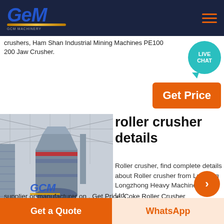GCM (logo) with hamburger menu
crushers, Ham Shan industrial Mining Machines PE100 200 Jaw Crusher.
[Figure (photo): Industrial roller crusher machine on factory floor with GCM watermark logo]
roller crusher details
Roller crusher, find complete details about Roller crusher from Luoyang Longzhong Heavy Machinery Co., Ltd.
supplier or manufacturer on . Get Price; Coke Roller Crusher Price factory four rollerCoke Roller Crusher Price facto